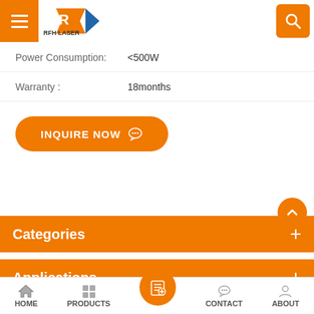[Figure (screenshot): RFH Laser logo with orange and blue geometric mark]
Power Consumption:    <500W
Warranty :    18months
[Figure (other): INQUIRE NOW button with chat icon]
Categories
Applications
HOME   PRODUCTS   CONTACT   ABOUT